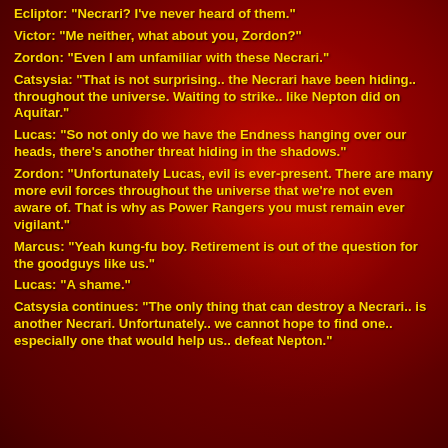Ecliptor: "Necrari? I've never heard of them."
Victor: "Me neither, what about you, Zordon?"
Zordon: "Even I am unfamiliar with these Necrari."
Catsysia: "That is not surprising.. the Necrari have been hiding.. throughout the universe. Waiting to strike.. like Nepton did on Aquitar."
Lucas: "So not only do we have the Endness hanging over our heads, there's another threat hiding in the shadows."
Zordon: "Unfortunately Lucas, evil is ever-present. There are many more evil forces throughout the universe that we're not even aware of. That is why as Power Rangers you must remain ever vigilant."
Marcus: "Yeah kung-fu boy. Retirement is out of the question for the goodguys like us."
Lucas: "A shame."
Catsysia continues: "The only thing that can destroy a Necrari.. is another Necrari. Unfortunately.. we cannot hope to find one.. especially one that would help us.. defeat Nepton."